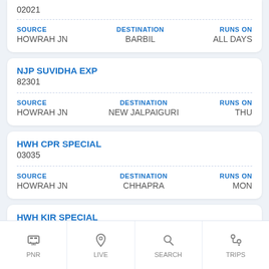02021
SOURCE: HOWRAH JN | DESTINATION: BARBIL | RUNS ON: ALL DAYS
NJP SUVIDHA EXP
82301
SOURCE: HOWRAH JN | DESTINATION: NEW JALPAIGURI | RUNS ON: THU
HWH CPR SPECIAL
03035
SOURCE: HOWRAH JN | DESTINATION: CHHAPRA | RUNS ON: MON
HWH KIR SPECIAL
05711
SOURCE: HOWRAH JN | DESTINATION: KATIHAR JN | RUNS ON: TUE
KRM I ??? SPECIAL